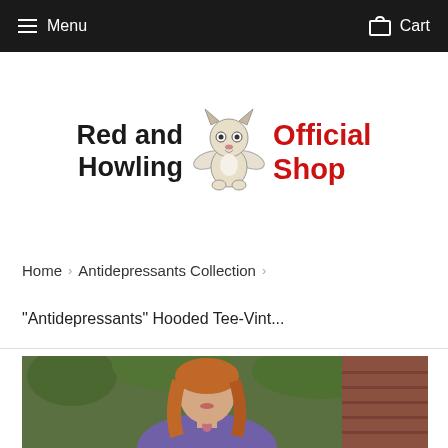Menu   Cart
[Figure (logo): Red and Howling Official Shop logo with cartoon dog/fox with wings in center]
Home › Antidepressants Collection ›
"Antidepressants" Hooded Tee-Vint...
[Figure (photo): Photo of a woman with long red/auburn hair wearing a purple hooded tee, standing in front of green foliage and brick wall, wearing a necklace]